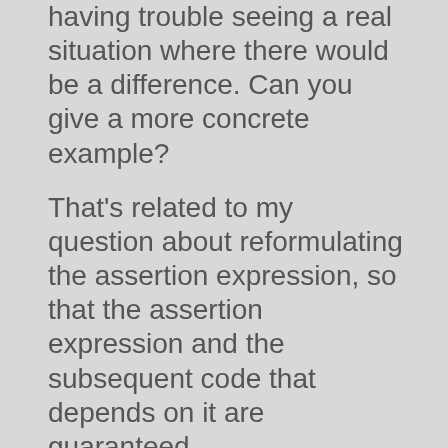having trouble seeing a real situation where there would be a difference. Can you give a more concrete example?
That's related to my question about reformulating the assertion expression, so that the assertion expression and the subsequent code that depends on it are guaranteed to be in sync, whatever it is that the subsequent really needs to guarantee. Because the subsequent code may have just the same problems that the code in the assertion expression has. Maybe the program example I'll post at the end will clear up what